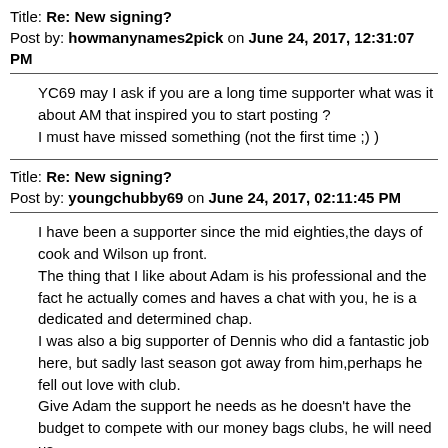Title: Re: New signing?
Post by: howmanynames2pick on June 24, 2017, 12:31:07 PM
YC69 may I ask if you are a long time supporter what was it about AM that inspired you to start posting ?
I must have missed something (not the first time ;) )
Title: Re: New signing?
Post by: youngchubby69 on June 24, 2017, 02:11:45 PM
I have been a supporter since the mid eighties,the days of cook and Wilson up front.
The thing that I like about Adam is his professional and the fact he actually comes and haves a chat with you, he is a dedicated and determined chap.
I was also a big supporter of Dennis who did a fantastic job here, but sadly last season got away from him,perhaps he fell out love with club.
Give Adam the support he needs as he doesn't have the budget to compete with our money bags clubs, he will need us.
Title: Re: New signing?
Post by: Steelihat on June 24, 2017, 03:39:04 PM
Quote from: green hats mate on June 24, 2017, 09:38:06 AM
Quote from: The Third Twin on June 23, 2017, 09:23:52 PM
Quote from: green hats mate on June 23, 2017, 10:52:36 AM